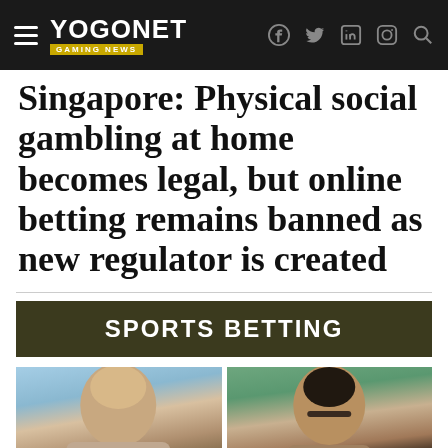YOGONET GAMING NEWS
Singapore: Physical social gambling at home becomes legal, but online betting remains banned as new regulator is created
SPORTS BETTING
[Figure (photo): Two portrait photos side by side: left photo shows a blond man outdoors, right photo shows a dark-haired man wearing glasses outdoors.]